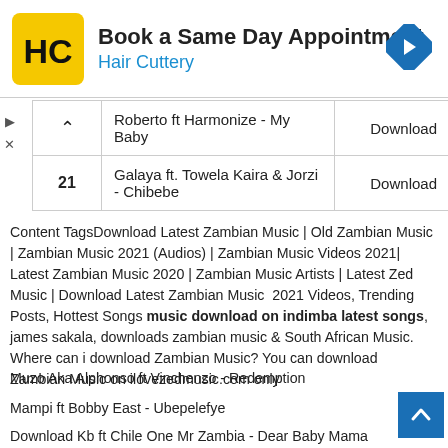[Figure (other): Hair Cuttery advertisement banner with logo, headline 'Book a Same Day Appointment', and navigation arrow icon]
|  | Song Title | Action |
| --- | --- | --- |
|  | Roberto ft Harmonize - My Baby | Download |
| 21 | Galaya ft. Towela Kaira & Jorzi - Chibebe | Download |
Content TagsDownload Latest Zambian Music | Old Zambian Music | Zambian Music 2021 (Audios) | Zambian Music Videos 2021| Latest Zambian Music 2020 | Zambian Music Artists | Latest Zed Music | Download Latest Zambian Music  2021 Videos, Trending Posts, Hottest Songs music download on indimba latest songs, james sakala, downloads zambian music & South African Music. Where can i download Zambian Music? You can download Zambian Music on ilovezedmusic.com only
Muzo Aka Alphonso ft Vinchenzo - Redemption
Mampi ft Bobby East - Ubepelefye
Download Kb ft Chile One Mr Zambia - Dear Baby Mama